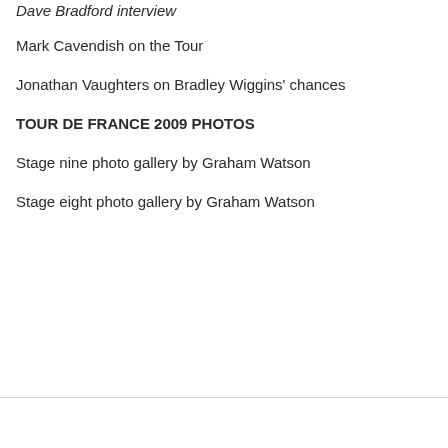Dave Bradford interview
Mark Cavendish on the Tour
Jonathan Vaughters on Bradley Wiggins' chances
TOUR DE FRANCE 2009 PHOTOS
Stage nine photo gallery by Graham Watson
Stage eight photo gallery by Graham Watson